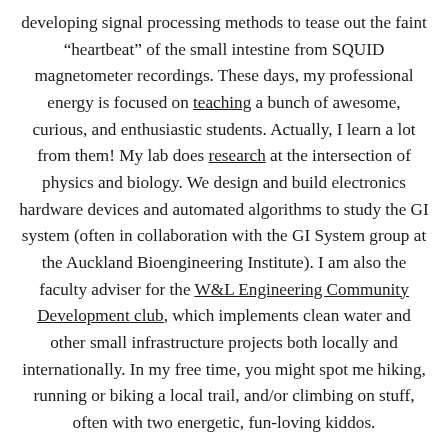developing signal processing methods to tease out the faint “heartbeat” of the small intestine from SQUID magnetometer recordings. These days, my professional energy is focused on teaching a bunch of awesome, curious, and enthusiastic students. Actually, I learn a lot from them! My lab does research at the intersection of physics and biology. We design and build electronics hardware devices and automated algorithms to study the GI system (often in collaboration with the GI System group at the Auckland Bioengineering Institute). I am also the faculty adviser for the W&L Engineering Community Development club, which implements clean water and other small infrastructure projects both locally and internationally. In my free time, you might spot me hiking, running or biking a local trail, and/or climbing on stuff, often with two energetic, fun-loving kiddos.